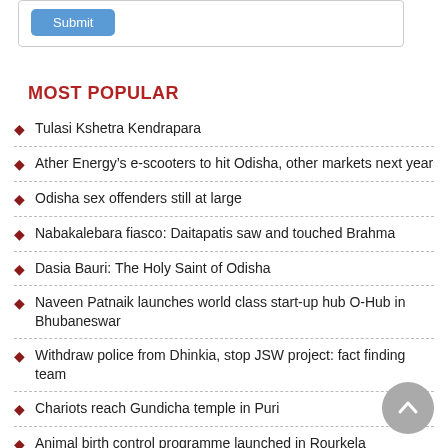[Figure (other): Submit button inside a bordered box]
MOST POPULAR
Tulasi Kshetra Kendrapara
Ather Energy’s e-scooters to hit Odisha, other markets next year
Odisha sex offenders still at large
Nabakalebara fiasco: Daitapatis saw and touched Brahma
Dasia Bauri: The Holy Saint of Odisha
Naveen Patnaik launches world class start-up hub O-Hub in Bhubaneswar
Withdraw police from Dhinkia, stop JSW project: fact finding team
Chariots reach Gundicha temple in Puri
Animal birth control programme launched in Rourkela